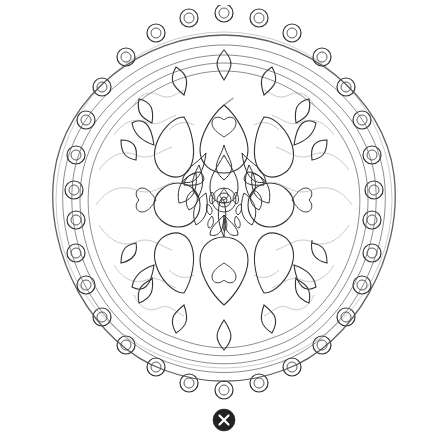[Figure (illustration): Intricate black and white mandala coloring page illustration with circular symmetry, featuring concentric rings of petal/leaf shapes, wavy line fillings, and small circles arranged around the outer border, all drawn in thin black outlines on white background.]
[Figure (other): Small black circular icon with an X symbol (close/cancel icon) centered at the bottom of the page.]